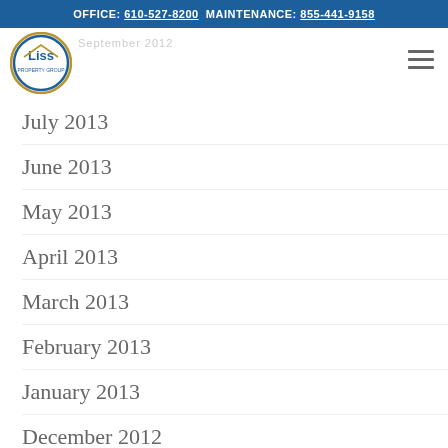OFFICE: 610-527-8200 MAINTENANCE: 855-441-9158
[Figure (logo): Liss Property Group circular logo with blue border and gold ring]
September 2012 (faded background title)
July 2013
June 2013
May 2013
April 2013
March 2013
February 2013
January 2013
December 2012